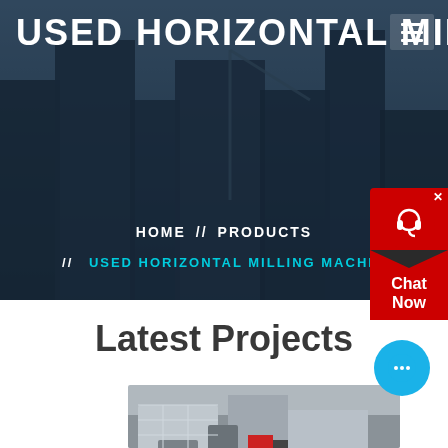USED HORIZONTAL MILLING MA...
HOME // PRODUCTS // USED HORIZONTAL MILLING MACHINE
Latest Projects
[Figure (photo): Industrial milling/crushing machine equipment in a factory or outdoor setting, large grey mechanical apparatus]
[Figure (illustration): Red chat widget with headset icon and 'Chat Now' label on the right side]
[Figure (illustration): Blue circular chat button with ellipsis icon]